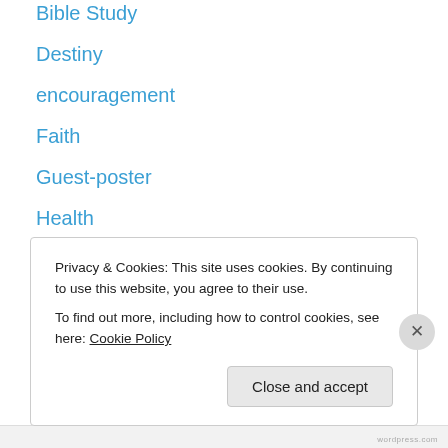Bible Study
Destiny
encouragement
Faith
Guest-poster
Health
life
My Convictions
My Thoughts
prayer
purpose
Ramblings
Relationships
self-esteem
Privacy & Cookies: This site uses cookies. By continuing to use this website, you agree to their use. To find out more, including how to control cookies, see here: Cookie Policy
Close and accept